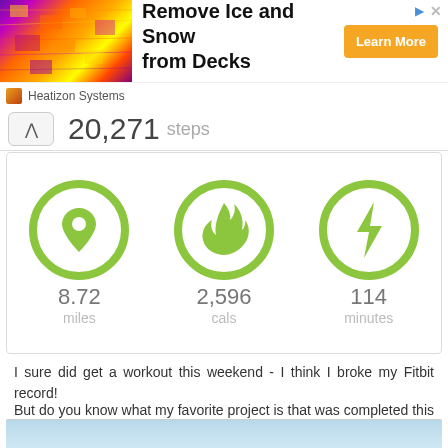[Figure (infographic): Advertisement banner: thermal image of a building roof, text 'Remove Ice and Snow from Decks', orange 'Learn More' button, Heatizon Systems branding]
20,271 steps
[Figure (infographic): Fitbit activity stats showing three circular green icons: location pin (8.72 miles), flame (2,596 cals), lightning bolt (114 minutes)]
I sure did get a workout this weekend - I think I broke my Fitbit record!
But do you know what my favorite project is that was completed this weekend?
[Figure (photo): Partial photo strip at the bottom, showing a light blue sky scene]